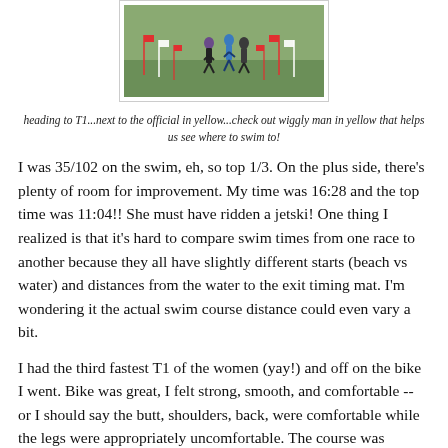[Figure (photo): Runners on a course with red and white flags/markers lining the path, green grass field background]
heading to T1...next to the official in yellow...check out wiggly man in yellow that helps us see where to swim to!
I was 35/102 on the swim, eh, so top 1/3. On the plus side, there's plenty of room for improvement. My time was 16:28 and the top time was 11:04!! She must have ridden a jetski! One thing I realized is that it's hard to compare swim times from one race to another because they all have slightly different starts (beach vs water) and distances from the water to the exit timing mat. I'm wondering it the actual swim course distance could even vary a bit.
I had the third fastest T1 of the women (yay!) and off on the bike I went. Bike was great, I felt strong, smooth, and comfortable -- or I should say the butt, shoulders, back, were comfortable while the legs were appropriately uncomfortable. The course was beautiful and I was busy "racing" or picking